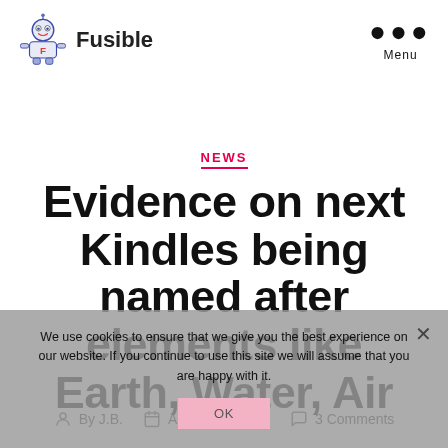Fusible — Menu
NEWS
Evidence on next Kindles being named after elements like Earth, Water, Air
We use cookies to ensure that we give you the best experience on our website. If you continue to use this site we will assume that you are happy with it.
By J.B.  August 25, 2011  3 Comments